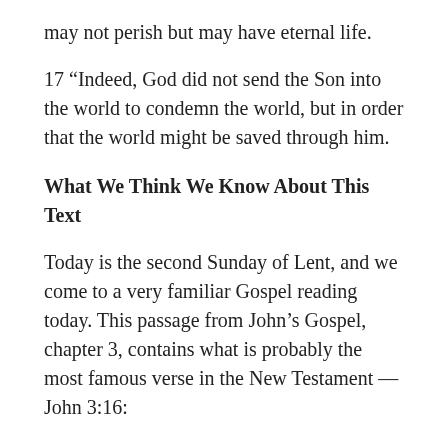may not perish but may have eternal life.
17 “Indeed, God did not send the Son into the world to condemn the world, but in order that the world might be saved through him.
What We Think We Know About This Text
Today is the second Sunday of Lent, and we come to a very familiar Gospel reading today. This passage from John’s Gospel, chapter 3, contains what is probably the most famous verse in the New Testament — John 3:16:
“For God so loved the world that